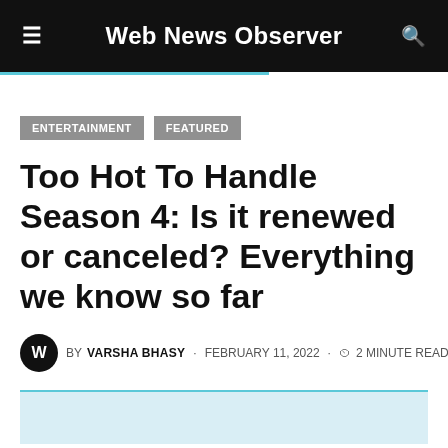Web News Observer
ENTERTAINMENT   FEATURED
Too Hot To Handle Season 4: Is it renewed or canceled? Everything we know so far
BY VARSHA BHASY · FEBRUARY 11, 2022 · 2 MINUTE READ